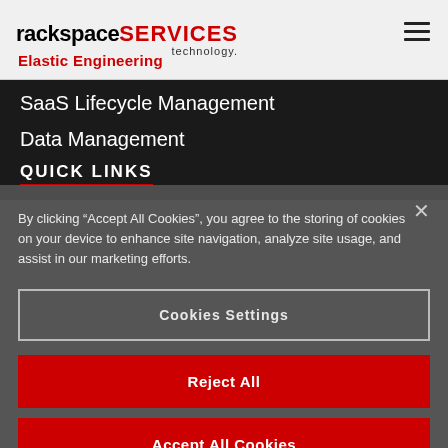rackspace SERVICES technology. Elastic Engineering
SaaS Lifecycle Management
Data Management
QUICK LINKS
By clicking “Accept All Cookies”, you agree to the storing of cookies on your device to enhance site navigation, analyze site usage, and assist in our marketing efforts.
Cookies Settings
Reject All
Accept All Cookies